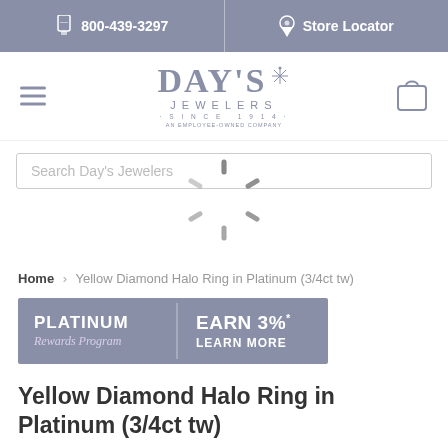800-439-3297  |  Store Locator
[Figure (logo): Day's Jewelers logo - Since 1914, an employee-owned company]
Search Day's Jewelers
[Figure (other): Loading spinner animation]
Home > Yellow Diamond Halo Ring in Platinum (3/4ct tw)
[Figure (infographic): Platinum Rewards Program banner: EARN 3%* LEARN MORE]
Yellow Diamond Halo Ring in Platinum (3/4ct tw)